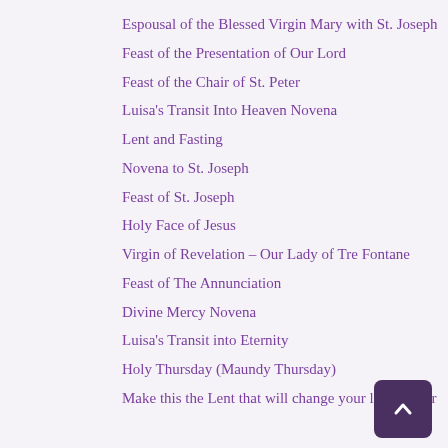Espousal of the Blessed Virgin Mary with St. Joseph
Feast of the Presentation of Our Lord
Feast of the Chair of St. Peter
Luisa's Transit Into Heaven Novena
Lent and Fasting
Novena to St. Joseph
Feast of St. Joseph
Holy Face of Jesus
Virgin of Revelation – Our Lady of Tre Fontane
Feast of The Annunciation
Divine Mercy Novena
Luisa's Transit into Eternity
Holy Thursday (Maundy Thursday)
Make this the Lent that will change your life forever